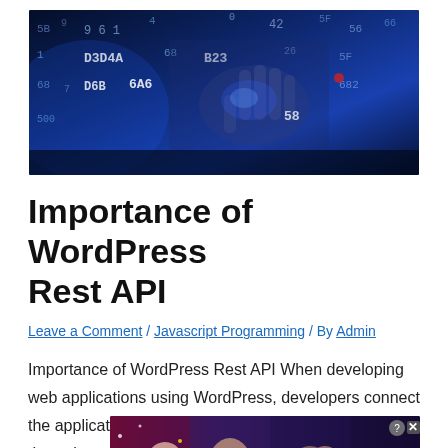[Figure (photo): Hero image showing a hand touching a digital screen with hexadecimal code overlays on a dark blue background]
Importance of WordPress Rest API
Leave a Comment / Javascript Programming / By Admin
Importance of WordPress Rest API When developing web applications using WordPress, developers connect the application to third-party programs and services through specific application programming interfaces (APIs). In addition, they use various APIs to improve the functionality and the user experience, allowing customers to connect
[Figure (photo): Advertisement overlay showing the Whispers game app with romantic characters and the Whispers logo]